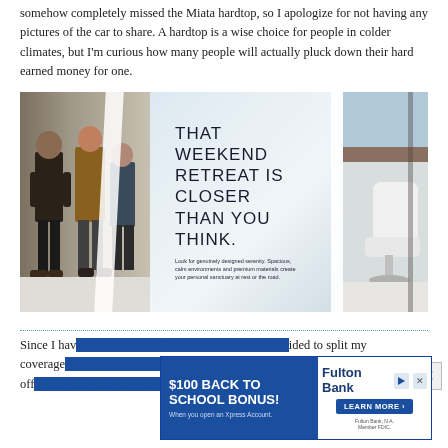somehow completely missed the Miata hardtop, so I apologize for not having any pictures of the car to share. A hardtop is a wise choice for people in colder climates, but I'm curious how many people will actually pluck down their hard earned money for one.
[Figure (photo): Photo of an interior space showing a frosted glass panel with the text 'THAT WEEKEND RETREAT IS CLOSER THAN YOU THINK.' with smaller text below, people walking on the left, and a white chair on the right.]
Since I hav... ided to split my coverage... ion that will start off... and the
[Figure (other): Advertisement for Fulton Bank: '$100 BACK TO SCHOOL BONUS! When you open an Xpress Account. LEARN MORE' with Fulton Bank logo and FDIC member notice.]